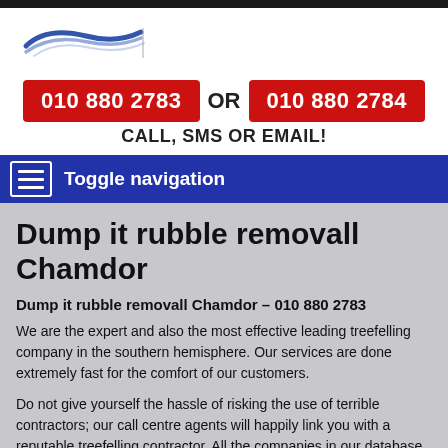[Figure (logo): Company logo with blue swoosh/wave marks]
010 880 2783 OR 010 880 2784
CALL, SMS OR EMAIL!
Toggle navigation
Dump it rubble removall Chamdor
Dump it rubble removall Chamdor – 010 880 2783
We are the expert and also the most effective leading treefelling company in the southern hemisphere. Our services are done extremely fast for the comfort of our customers.
Do not give yourself the hassle of risking the use of terrible contractors; our call centre agents will happily link you with a reputable treefelling contractor. All the companies in our database are professional and will